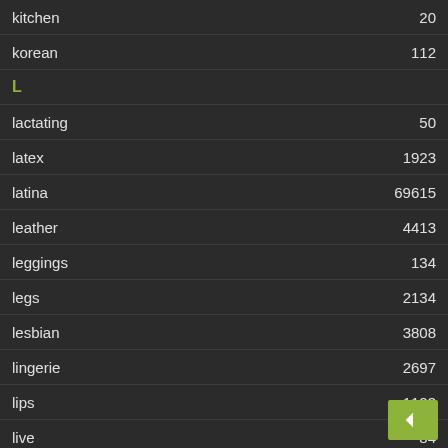kitchen    20
korean    112
L
lactating    50
latex    1923
latina    69615
leather    4413
leggings    134
legs    2134
lesbian    3808
lingerie    2697
lips    1123
live    84
M
machine